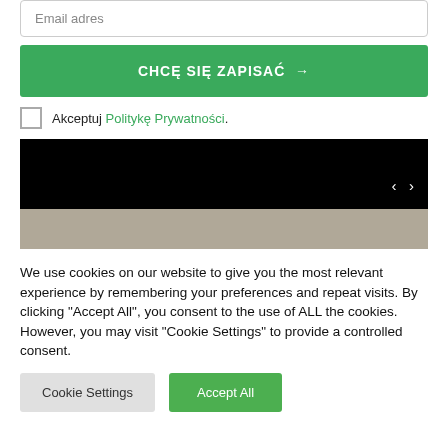Email adres
CHCĘ SIĘ ZAPISAĆ →
Akceptuj Politykę Prywatności.
[Figure (photo): Image slider with black upper section and beige/brown lower section, with left and right navigation arrows on the right side]
We use cookies on our website to give you the most relevant experience by remembering your preferences and repeat visits. By clicking "Accept All", you consent to the use of ALL the cookies. However, you may visit "Cookie Settings" to provide a controlled consent.
Cookie Settings
Accept All